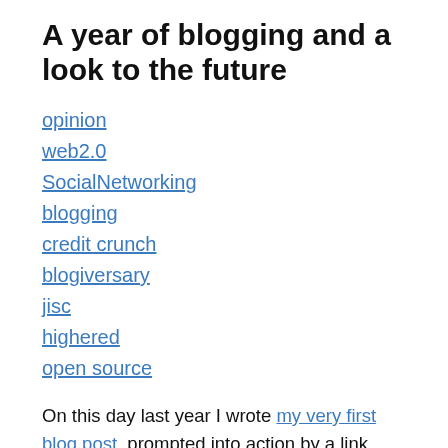A year of blogging and a look to the future
opinion
web2.0
SocialNetworking
blogging
credit crunch
blogiversary
jisc
highered
open source
On this day last year I wrote my very first blog post, prompted into action by a link from Martin Weller's blog to my then largely empty blog! I'm glad I became a blogger, I've already explained my reasons for blogging and the last year has no doubt seen some quite